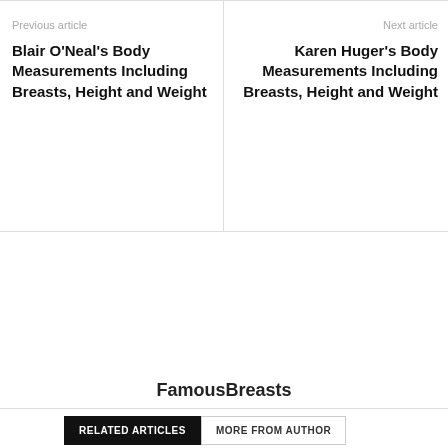Previous article
Blair O’Neal’s Body Measurements Including Breasts, Height and Weight
Next article
Karen Huger’s Body Measurements Including Breasts, Height and Weight
FamousBreasts
RELATED ARTICLES
MORE FROM AUTHOR